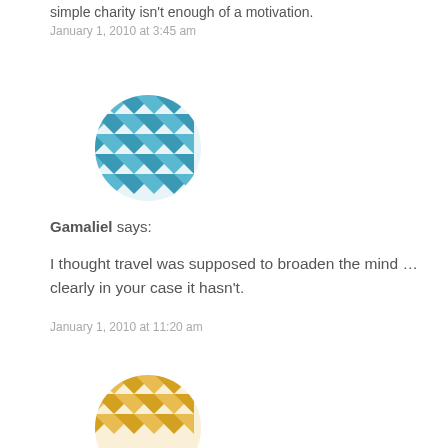simple charity isn't enough of a motivation.
January 1, 2010 at 3:45 am
[Figure (illustration): Teal/blue geometric mosaic avatar icon made of triangular tile pattern]
Gamaliel says:
I thought travel was supposed to broaden the mind … clearly in your case it hasn't.
January 1, 2010 at 11:20 am
[Figure (illustration): Gold/amber geometric mosaic avatar icon made of diamond and circular tile pattern, partially visible at bottom]